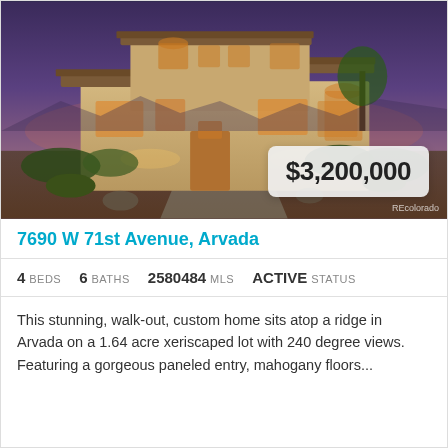[Figure (photo): Luxury custom home at dusk with warm lighting, stucco exterior, landscaped yard, and dramatic sky]
7690 W 71st Avenue, Arvada
4 BEDS   6 BATHS   2580484 MLS   ACTIVE STATUS
This stunning, walk-out, custom home sits atop a ridge in Arvada on a 1.64 acre xeriscaped lot with 240 degree views. Featuring a gorgeous paneled entry, mahogany floors...